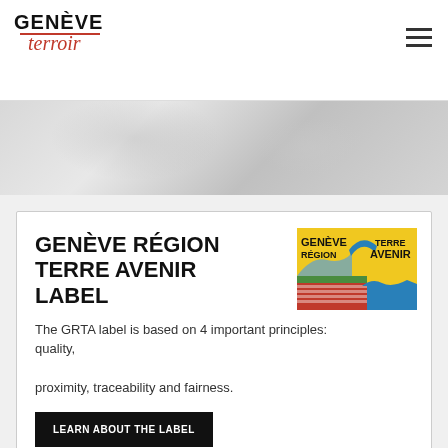GENÈVE terroir
[Figure (photo): Hero banner image with light grey textured/foggy background]
GENÈVE RÉGION TERRE AVENIR LABEL
[Figure (logo): Genève Région Terre Avenir logo with yellow background, green fields, red stripes, and blue water with arch graphic]
The GRTA label is based on 4 important principles: quality, proximity, traceability and fairness.
LEARN ABOUT THE LABEL